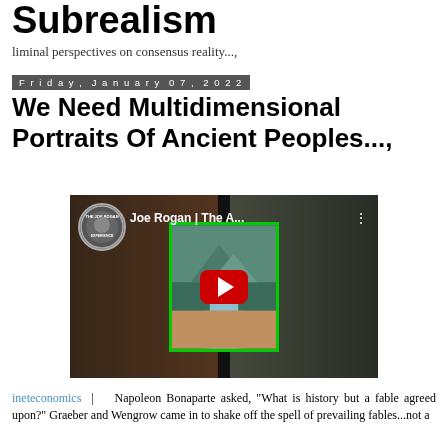Subrealism
liminal perspectives on consensus reality...,
Friday, January 07, 2022
We Need Multidimensional Portraits Of Ancient Peoples...,
[Figure (screenshot): YouTube video thumbnail showing Joe Rogan and a guest, with Joe Rogan Experience logo, title 'Joe Rogan | The A...' and red play button]
ineteconomics |    Napoleon Bonaparte asked, "What is history but a fable agreed upon?" Graeber and Wengrow came in to shake off the spell of prevailing fables...not a